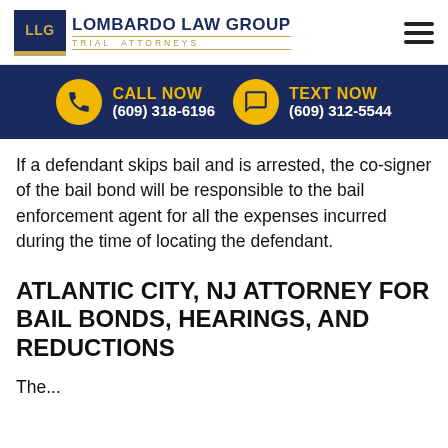Lombardo Law Group – Trial Attorneys
CALL NOW (609) 318-6196   TEXT NOW (609) 312-5544
If a defendant skips bail and is arrested, the co-signer of the bail bond will be responsible to the bail enforcement agent for all the expenses incurred during the time of locating the defendant.
ATLANTIC CITY, NJ ATTORNEY FOR BAIL BONDS, HEARINGS, AND REDUCTIONS
The...